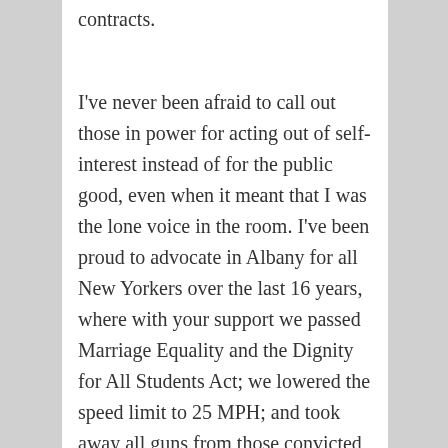contracts.
I've never been afraid to call out those in power for acting out of self-interest instead of for the public good, even when it meant that I was the lone voice in the room. I've been proud to advocate in Albany for all New Yorkers over the last 16 years, where with your support we passed Marriage Equality and the Dignity for All Students Act; we lowered the speed limit to 25 MPH; and took away all guns from those convicted of domestic violence.
I'm ready to continue fighting for you as NYC Public Advocate. However, I believe